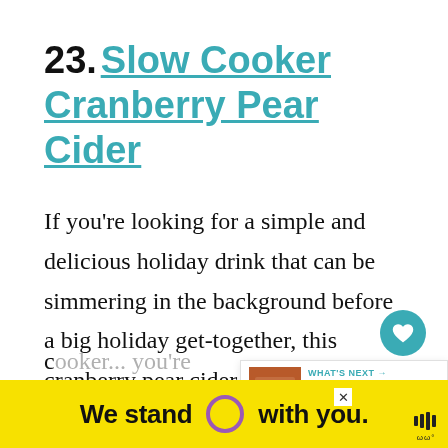23. Slow Cooker Cranberry Pear Cider
If you're looking for a simple and delicious holiday drink that can be simmering in the background before a big holiday get-together, this cranberry pear cider is perfect.
Made with pears, oranges, cranberries, spices, you'll make this up in your slow cooker...
[Figure (screenshot): What's Next promotional panel with image thumbnail and text 'Gluten-free Dairy-free...']
[Figure (infographic): Yellow ad banner reading 'We stand O with you.' with purple circle logo, close button, and audio icon]